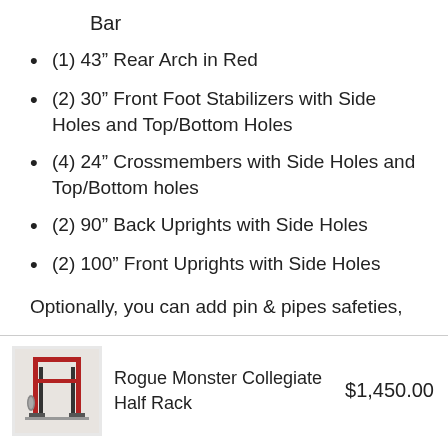Bar
(1) 43” Rear Arch in Red
(2) 30” Front Foot Stabilizers with Side Holes and Top/Bottom Holes
(4) 24” Crossmembers with Side Holes and Top/Bottom holes
(2) 90” Back Uprights with Side Holes
(2) 100” Front Uprights with Side Holes
Optionally, you can add pin & pipes safeties,
[Figure (photo): Small product image of Rogue Monster Collegiate Half Rack, a red and black power rack with weight plates]
Rogue Monster Collegiate Half Rack
$1,450.00
SEE DEAL